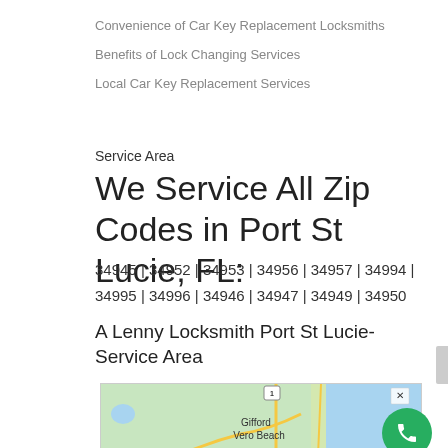Convenience of Car Key Replacement Locksmiths
Benefits of Lock Changing Services
Local Car Key Replacement Services
Service Area
We Service All Zip Codes in Port St Lucie, FL:
34945 | 34952 | 34953 | 34956 | 34957 | 34994 | 34995 | 34996 | 34946 | 34947 | 34949 | 34950
A Lenny Locksmith Port St Lucie-Service Area
[Figure (map): Google map showing Gifford and Vero Beach area in Florida with Route 95, A1A, and Route 441 marked, coastline visible on right side]